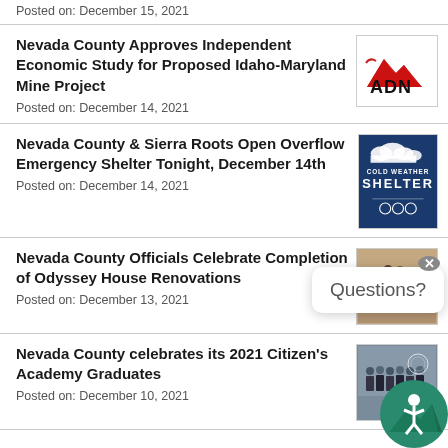Posted on: December 15, 2021
Nevada County Approves Independent Economic Study for Proposed Idaho-Maryland Mine Project
Posted on: December 14, 2021
[Figure (logo): RDN logo — mountain shape with red and black text reading ADN]
Nevada County & Sierra Roots Open Overflow Emergency Shelter Tonight, December 14th
Posted on: December 14, 2021
[Figure (illustration): Cold Weather Shelter sign — dark blue background with white text reading COLD WEATHER SHELTER]
Nevada County Officials Celebrate Completion of Odyssey House Renovations
Posted on: December 13, 2021
[Figure (photo): Group of people posing indoors for the Odyssey House Renovations celebration]
Nevada County celebrates its 2021 Citizen's Academy Graduates
Posted on: December 10, 2021
[Figure (photo): Group photo of 2021 Citizen's Academy Graduates with county seal visible]